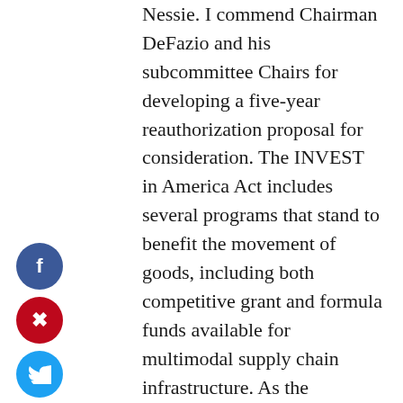Nessie. I commend Chairman DeFazio and his subcommittee Chairs for developing a five-year reauthorization proposal for consideration. The INVEST in America Act includes several programs that stand to benefit the movement of goods, including both competitive grant and formula funds available for multimodal supply chain infrastructure. As the reauthorization process moves forward, we look forward to working with House and Senate leaders to